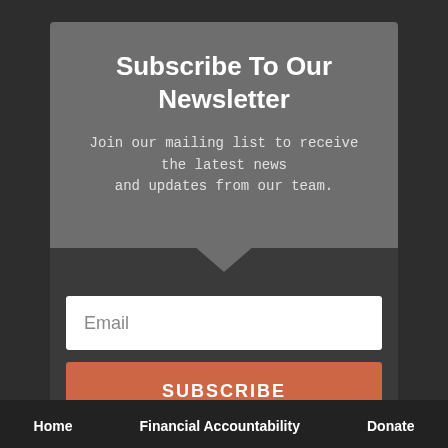Subscribe To Our Newsletter
Join our mailing list to receive the latest news and updates from our team.
Email
SUBSCRIBE
Home   Financial Accountability   Donate